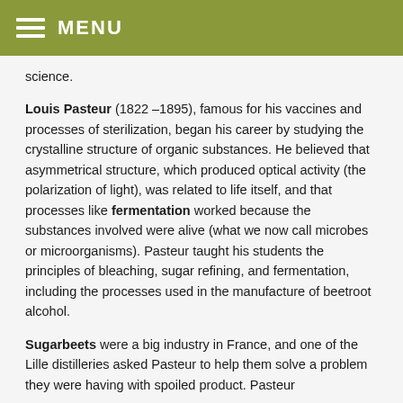MENU
science.
Louis Pasteur (1822 –1895), famous for his vaccines and processes of sterilization, began his career by studying the crystalline structure of organic substances. He believed that asymmetrical structure, which produced optical activity (the polarization of light), was related to life itself, and that processes like fermentation worked because the substances involved were alive (what we now call microbes or microorganisms). Pasteur taught his students the principles of bleaching, sugar refining, and fermentation, including the processes used in the manufacture of beetroot alcohol.
Sugarbeets were a big industry in France, and one of the Lille distilleries asked Pasteur to help them solve a problem they were having with spoiled product. Pasteur